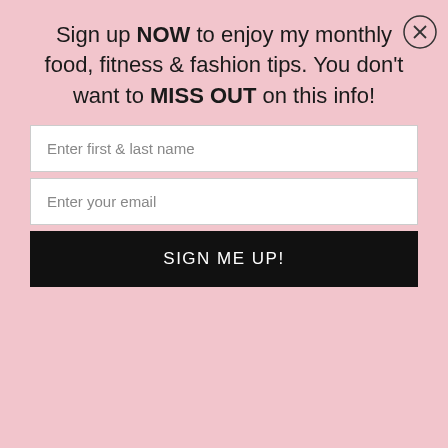[Figure (screenshot): Website popup modal with pink background containing a newsletter sign-up form with text, two input fields, and a 'SIGN ME UP!' button, overlaid on a blog page showing navigation bar with hamburger menu, 'stacy rody' script logo, and article body text.]
Sign up NOW to enjoy my monthly food, fitness & fashion tips. You don't want to MISS OUT on this info!
Enter first & last name
Enter your email
SIGN ME UP!
stick to it as closely as possible is another sure way to ke sure you can with your goals.
When you plan well, things flow much easier and allow for that buffer we need if our day doesn't go as planned. That's why I am choosing to wake-up early to get my fitness in.
When we, as women, complete the program and do the